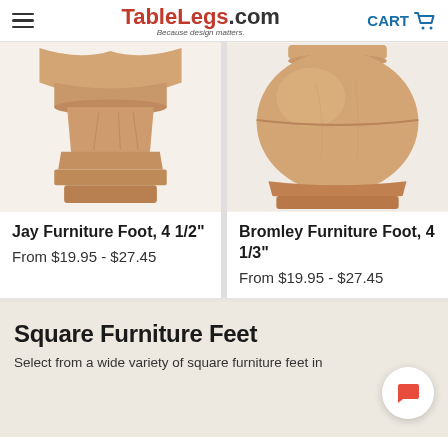TableLegs.com — Because design matters. CART
[Figure (photo): Jay Furniture Foot, 4 1/2" - wooden furniture foot product photo, warm tan/beige wood color, carved decorative profile]
Jay Furniture Foot, 4 1/2"
From $19.95 - $27.45
[Figure (photo): Bromley Furniture Foot, 4 1/3" - wooden furniture foot product photo, rounded ball-like shape with flat base, warm wood color]
Bromley Furniture Foot, 4 1/3"
From $19.95 - $27.45
Square Furniture Feet
Select from a wide variety of square furniture feet in